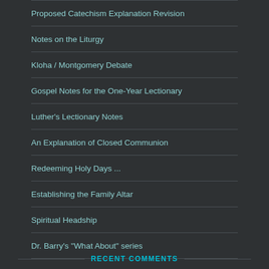Proposed Catechism Explanation Revision
Notes on the Liturgy
Kloha / Montgomery Debate
Gospel Notes for the One-Year Lectionary
Luther's Lectionary Notes
An Explanation of Closed Communion
Redeeming Holy Days ...
Establishing the Family Altar
Spiritual Headship
Dr. Barry's "What About" series
Luther Sayings
RECENT COMMENTS